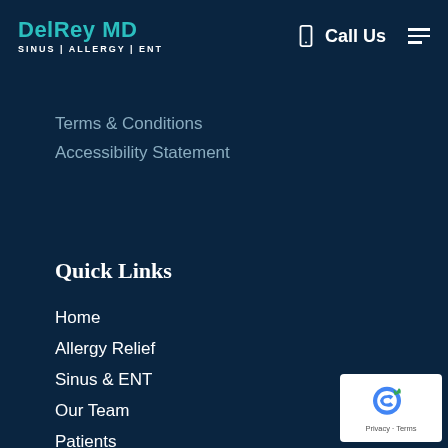DelRey MD SINUS | ALLERGY | ENT — Call Us
Terms & Conditions
Accessibility Statement
Quick Links
Home
Allergy Relief
Sinus & ENT
Our Team
Patients
[Figure (logo): reCAPTCHA badge with Privacy and Terms text]